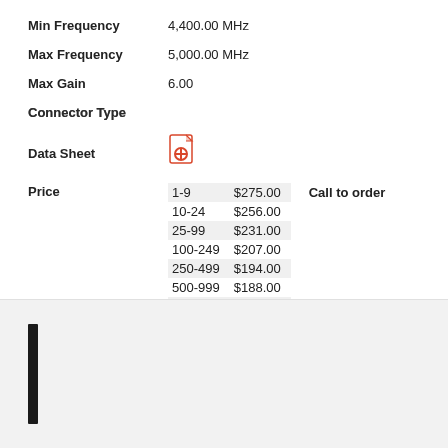Min Frequency    4,400.00 MHz
Max Frequency    5,000.00 MHz
Max Gain    6.00
Connector Type
[Figure (other): Red PDF document icon representing a data sheet download]
Data Sheet
| Qty | Price |
| --- | --- |
| 1-9 | $275.00 |
| 10-24 | $256.00 |
| 25-99 | $231.00 |
| 100-249 | $207.00 |
| 250-499 | $194.00 |
| 500-999 | $188.00 |
| 1000+ | $157.00 |
Call to order
[Figure (other): Black vertical bar at lower left of bottom panel area]